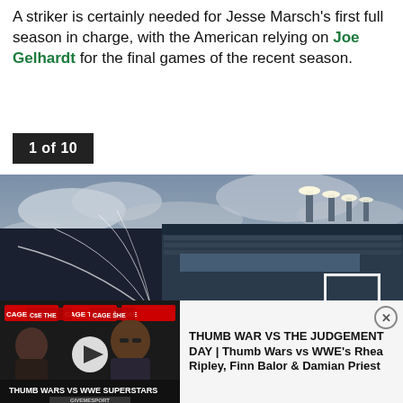A striker is certainly needed for Jesse Marsch's first full season in charge, with the American relying on Joe Gelhardt for the final games of the recent season.
1 of 10
[Figure (photo): Wide angle view of Elland Road football stadium from the corner flag, showing the pitch with sprinklers running, the main stand lit up, and a cloudy sky. A Leeds United corner flag with the owl crest is in the foreground.]
[Figure (screenshot): Ad banner: Thumb Wars vs WWE Superstars video thumbnail on the left (dark background with people posing at an event, GiveMeSport branding, play button), and on the right text reading 'THUMB WAR VS THE JUDGEMENT DAY | Thumb Wars vs WWE's Rhea Ripley, Finn Balor & Damian Priest' with a close button.]